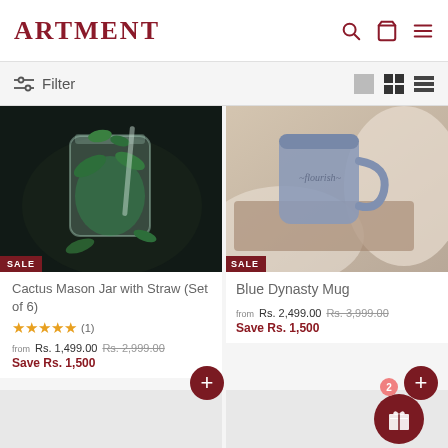ARTMENT
Filter
[Figure (photo): Dark background photo of a mason jar with green leaves and liquid, Cactus Mason Jar with Straw product photo. SALE badge visible.]
Cactus Mason Jar with Straw (Set of 6)
★★★★★ (1)
from Rs. 1,499.00  Rs. 2,999.00
Save Rs. 1,500
[Figure (photo): Photo of a blue ceramic mug on a wooden tray with soft white knit fabric in background. SALE badge visible.]
Blue Dynasty Mug
from Rs. 2,499.00  Rs. 3,999.00
Save Rs. 1,500